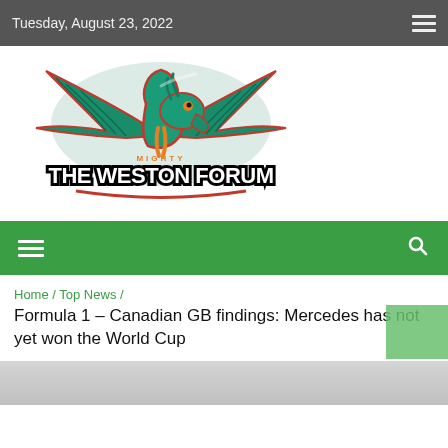Tuesday, August 23, 2022
[Figure (logo): The Mighty Weston Forum dragon logo — a teal/green dragon with orange accents and spread wings above the text 'MIGHTY THE WESTON FORUM']
≡  🔍
Home / Top News /
Formula 1 – Canadian GB findings: Mercedes has not yet won the World Cup
[Figure (photo): Partial bottom image strip showing beginning of an article photo]